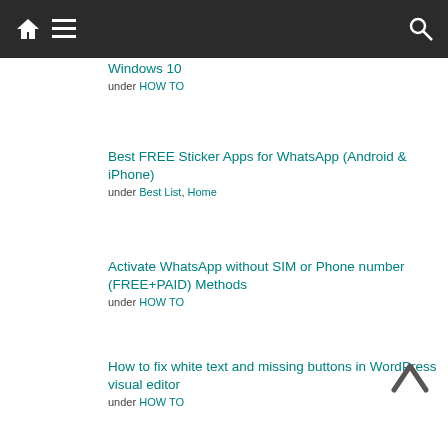Navigation bar with home, menu, and search icons
Windows 10
under HOW TO
Best FREE Sticker Apps for WhatsApp (Android & iPhone)
under Best List, Home
Activate WhatsApp without SIM or Phone number (FREE+PAID) Methods
under HOW TO
How to fix white text and missing buttons in WordPress visual editor
under HOW TO
[Updated] How to Increase Jio speed – Working methods